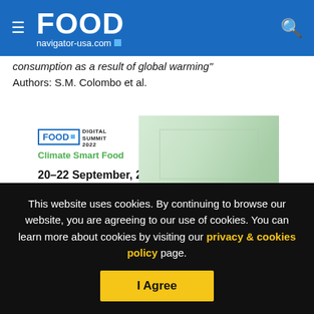FOOD navigator-usa.com
consumption as a result of global warming"
Authors: S.M. Colombo et al.
[Figure (illustration): Food Navigator Digital Summit 2022 – Climate Smart Food promotional banner. Left side shows logo, date 20–22 September, 2022, and title 'Climate Smart Food'. Right side shows green plant/nature photo.]
This website uses cookies. By continuing to browse our website, you are agreeing to our use of cookies. You can learn more about cookies by visiting our privacy & cookies policy page.